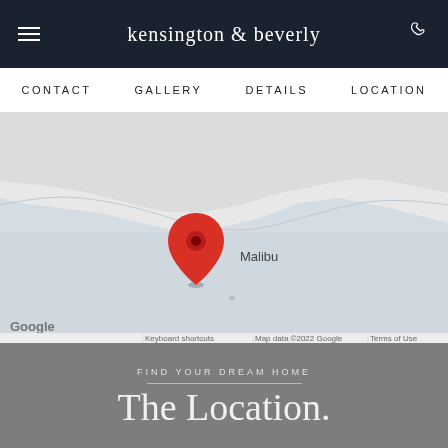kensington & beverly
CONTACT   GALLERY   DETAILS   LOCATION
[Figure (map): Google Maps view showing a red location pin near Malibu coastline. Labels: 'Malibu', 'Google', 'Keyboard shortcuts', 'Map data ©2022 Google', 'Terms of Use']
FIND YOUR DREAM HOME
The Location.
GET DIRECTIONS